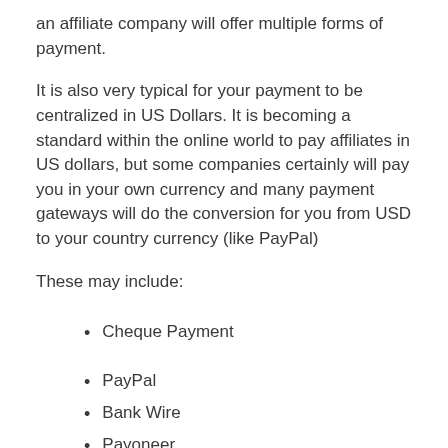an affiliate company will offer multiple forms of payment.
It is also very typical for your payment to be centralized in US Dollars. It is becoming a standard within the online world to pay affiliates in US dollars, but some companies certainly will pay you in your own currency and many payment gateways will do the conversion for you from USD to your country currency (like PayPal)
These may include:
Cheque Payment
PayPal
Bank Wire
Payoneer